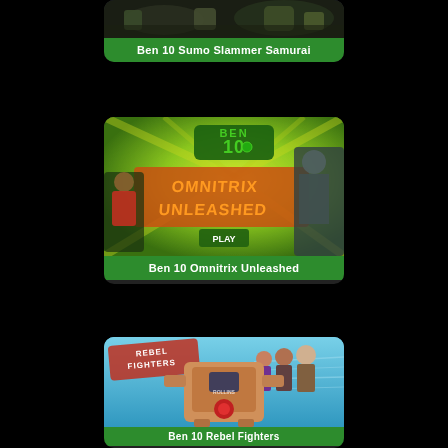[Figure (screenshot): Ben 10 Sumo Slammer Samurai game card with dark game screenshot and green label bar]
[Figure (screenshot): Ben 10 Omnitrix Unleashed game card with animated game splash art showing BEN 10 OMNITRIX UNLEASHED logo on green/yellow background with characters]
[Figure (screenshot): Ben 10 Rebel Fighters game card with animated game screenshot showing REBEL FIGHTERS logo on blue background with robot/mech characters and partial green label bar at bottom]